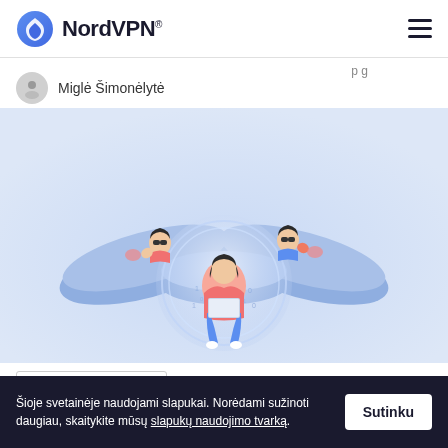NordVPN®
Miglė Šimonėlytė
[Figure (illustration): NordVPN illustration showing a person using a laptop protected inside a glowing sphere, surrounded by a blue WiFi-shaped platform with two mysterious figures peeking from the sides]
GRĖSMĖS INTERNETE
Šioje svetainėje naudojami slapukai. Norėdami sužinoti daugiau, skaitykite mūsų slapukų naudojimo tvarką.